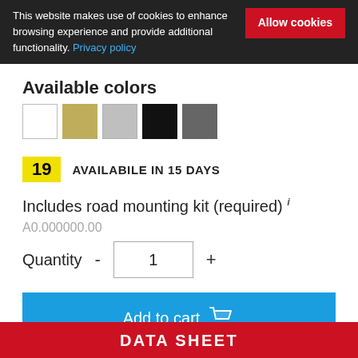This website makes use of cookies to enhance browsing experience and provide additional functionality. Privacy policy
Allow cookies
Available colors
[Figure (illustration): Five color swatches: white, gold/khaki, silver/gray, black, dark gray]
19  AVAILABILE IN 15 DAYS
Includes road mounting kit (required) i
A0.000000.00
Quantity  -  1  +
Add to cart
Add to cart without kit
DATA SHEET